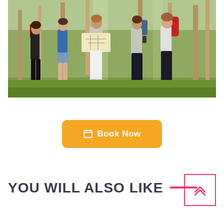[Figure (photo): Group of young hikers with backpacks standing in a sunlit forest, looking at a map together]
Book Now
YOU WILL ALSO LIKE